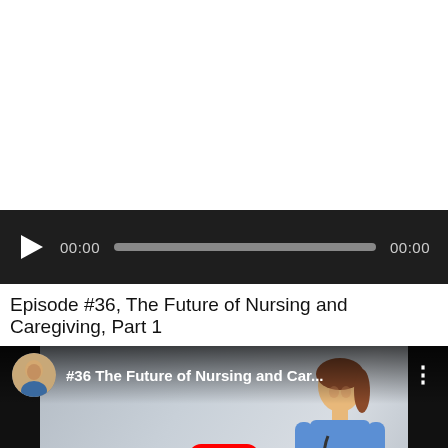[Figure (screenshot): Audio player widget with dark background, play button, 00:00 timestamps, and progress bar]
Episode #36, The Future of Nursing and Caregiving, Part 1
[Figure (screenshot): YouTube video thumbnail showing a smiling nurse in scrubs with stethoscope, channel avatar of older man, title '#36 The Future of Nursing and Car...', YouTube play button overlay]